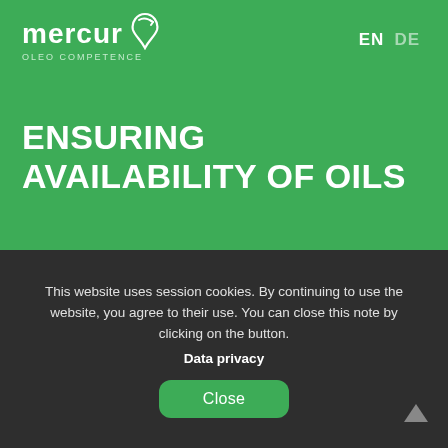[Figure (logo): Mercur OLEO COMPETENCE logo with white text and stylized leaf/arrow symbol on green background]
EN  DE
ENSURING AVAILABILITY OF OILS
THE OLEO EXPERTS KNOW
This website uses session cookies. By continuing to use the website, you agree to their use. You can close this note by clicking on the button.
Data privacy
Close